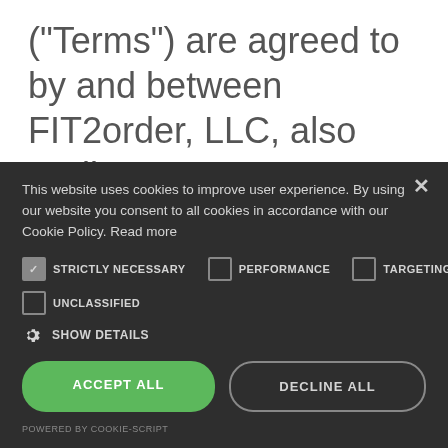("Terms") are agreed to by and between FIT2order, LLC, also trading as connect2FIT ("FIT2order," "connect2FIT," "band2FIT," "Healthy @ Work," "Healthy Habits Kit," and "We") and all customers, clients and users as set forth herein.
This website uses cookies to improve user experience. By using our website you consent to all cookies in accordance with our Cookie Policy. Read more
STRICTLY NECESSARY  PERFORMANCE  TARGETING  UNCLASSIFIED  SHOW DETAILS
ACCEPT ALL
DECLINE ALL
POWERED BY COOKIE-SCRIPT